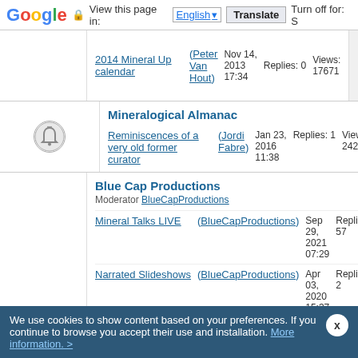Google | View this page in: English | Translate | Turn off for: S
2014 Mineral Up calendar (Peter Van Hout) Nov 14, 2013 17:34 Replies: 0 Views: 17671
Mineralogical Almanac
Reminiscences of a very old former curator (Jordi Fabre) Jan 23, 2016 11:38 Replies: 1 Views: 24208
Blue Cap Productions
Moderator BlueCapProductions
Mineral Talks LIVE (BlueCapProductions) Sep 29, 2021 07:29 Replies: 57 Views: 31637
Narrated Slideshows (BlueCapProductions) Apr 03, 2020 15:37 Replies: 2 Views: 16787
BlueCapProductions releases full videos for free on Youtube (Tobi) Apr 03, 2020 15:34 Replies: 5 Views: 15278
We use cookies to show content based on your preferences. If you continue to browse you accept their use and installation. More information. >